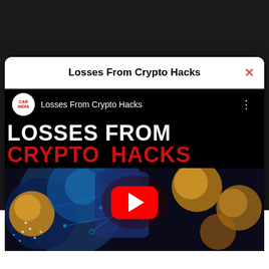Losses From Crypto Hacks
[Figure (screenshot): YouTube video thumbnail embed showing 'Losses From Crypto Hacks' video by CARINDIA channel. The thumbnail features bold white and red text reading 'LOSSES FROM CRYPTO HACKS' over a dark cyberpunk-style background with cryptocurrency imagery and a figure in a hoodie. A red YouTube play button is centered on the image.]